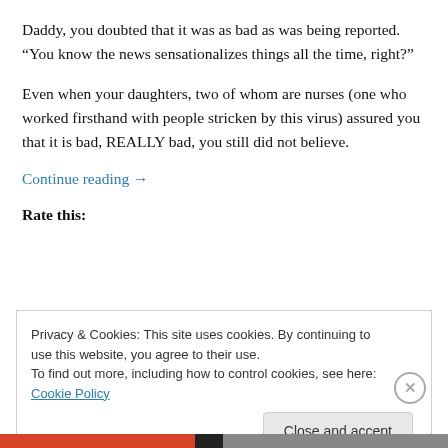Daddy, you doubted that it was as bad as was being reported. “You know the news sensationalizes things all the time, right?”
Even when your daughters, two of whom are nurses (one who worked firsthand with people stricken by this virus) assured you that it is bad, REALLY bad, you still did not believe.
Continue reading →
Rate this:
Privacy & Cookies: This site uses cookies. By continuing to use this website, you agree to their use.
To find out more, including how to control cookies, see here: Cookie Policy